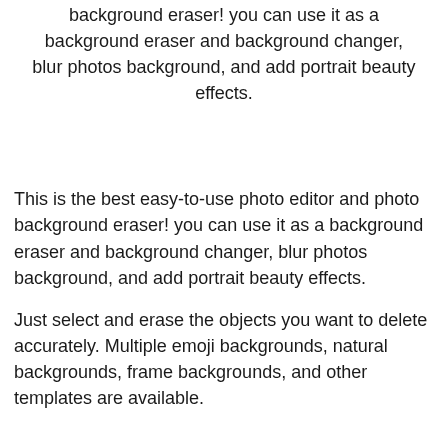background eraser! you can use it as a background eraser and background changer, blur photos background, and add portrait beauty effects.
This is the best easy-to-use photo editor and photo background eraser! you can use it as a background eraser and background changer, blur photos background, and add portrait beauty effects.
Just select and erase the objects you want to delete accurately. Multiple emoji backgrounds, natural backgrounds, frame backgrounds, and other templates are available.